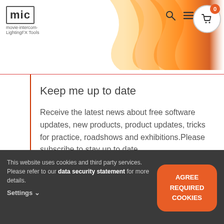[Figure (logo): MIC movie-intercom LightingFX Tools logo with navigation icons (search, menu, cart showing 0 items) on a warm orange/flame background header]
Keep me up to date
Receive the latest news about free software updates, new products, product updates, tricks for practice, roadshows and exhibitions.Please subscribe to stay up to date.
This website uses cookies and third party services. Please refer to our data security statement for more details. Settings ∨
AGREE REQUIRED COOKIES